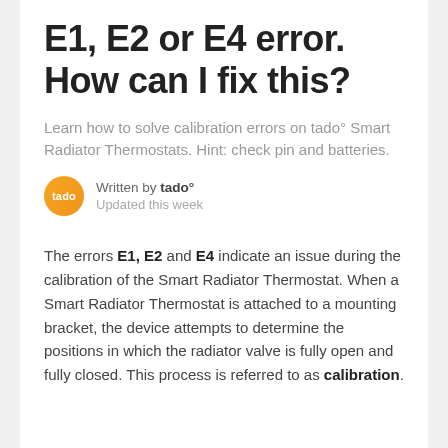E1, E2 or E4 error. How can I fix this?
Learn how to solve calibration errors on tado° Smart Radiator Thermostats. Hint: check pin and batteries.
Written by tado° Updated this week
The errors E1, E2 and E4 indicate an issue during the calibration of the Smart Radiator Thermostat. When a Smart Radiator Thermostat is attached to a mounting bracket, the device attempts to determine the positions in which the radiator valve is fully open and fully closed. This process is referred to as calibration.